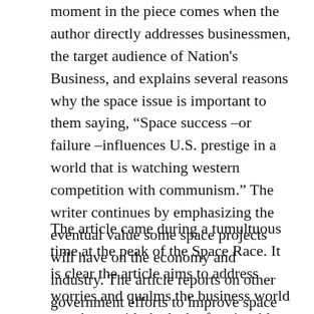moment in the piece comes when the author directly addresses businessmen, the target audience of Nation's Business, and explains several reasons why the space issue is important to them saying, “Space success –or failure –influences U.S. prestige in a world that is watching western competition with communism.” The writer continues by emphasizing the eventual value some space projects will have on the economy and industry. The article reports on other government efforts to improve space projects and pulls in the opinion of a few experts in the field. Four PhD.s give their recommendations and validate many of the statements made earlier in the article.
The article came during a tumultuous time at the peak of the Space Race. It is clear the article aims to address worries and qualms the business world may have with the lack of noticeable progress in US space projects and doubts that projects would lead to gains in the business/